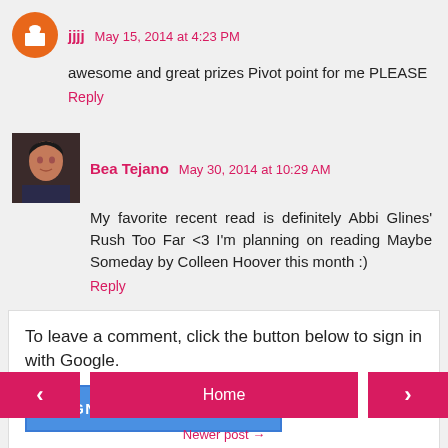jjjj  May 15, 2014 at 4:23 PM
awesome and great prizes Pivot point for me PLEASE
Reply
Bea Tejano  May 30, 2014 at 10:29 AM
My favorite recent read is definitely Abbi Glines' Rush Too Far <3 I'm planning on reading Maybe Someday by Colleen Hoover this month :)
Reply
To leave a comment, click the button below to sign in with Google.
SIGN IN WITH GOOGLE
< Home >